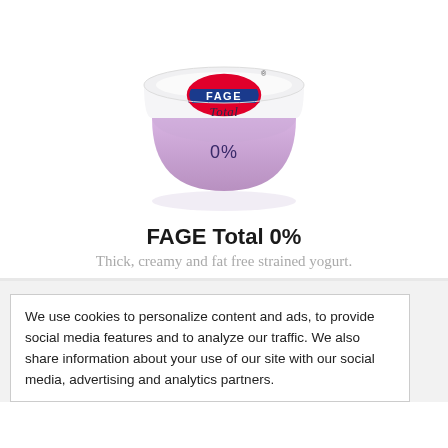[Figure (photo): FAGE Total 0% Greek yogurt container with white top, purple/lavender lower half, FAGE logo with red oval and blue banner, cursive 'Total' text, and '0%' printed on the front. Product shown with a subtle reflection below.]
FAGE Total 0%
Thick, creamy and fat free strained yogurt.
We use cookies to personalize content and ads, to provide social media features and to analyze our traffic. We also share information about your use of our site with our social media, advertising and analytics partners.